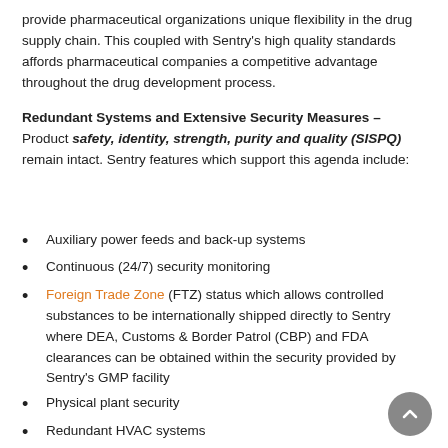provide pharmaceutical organizations unique flexibility in the drug supply chain. This coupled with Sentry's high quality standards affords pharmaceutical companies a competitive advantage throughout the drug development process.
Redundant Systems and Extensive Security Measures – Product safety, identity, strength, purity and quality (SISPQ) remain intact. Sentry features which support this agenda include:
Auxiliary power feeds and back-up systems
Continuous (24/7) security monitoring
Foreign Trade Zone (FTZ) status which allows controlled substances to be internationally shipped directly to Sentry where DEA, Customs & Border Patrol (CBP) and FDA clearances can be obtained within the security provided by Sentry's GMP facility
Physical plant security
Redundant HVAC systems
Secure data and document programs